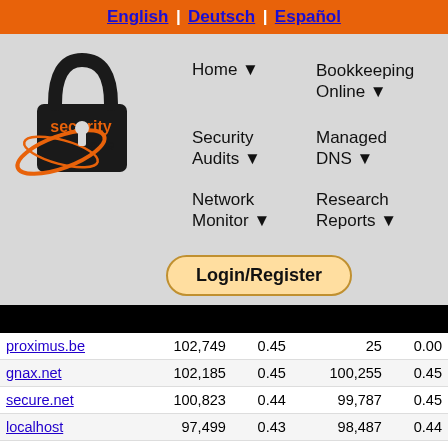English | Deutsch | Español
[Figure (logo): Security Space logo with padlock and orbiting rings]
Home ▼
Bookkeeping Online ▼
Security Audits ▼
Managed DNS ▼
Network Monitor ▼
Research Reports ▼
Login/Register
| Domain | Count | % | Prev | % |
| --- | --- | --- | --- | --- |
| proximus.be | 102,749 | 0.45 | 25 | 0.00 |
| gnax.net | 102,185 | 0.45 | 100,255 | 0.45 |
| secure.net | 100,823 | 0.44 | 99,787 | 0.45 |
| localhost | 97,499 | 0.43 | 98,487 | 0.44 |
| ptd.net | 95,188 | 0.42 | 92,124 | 0.41 |